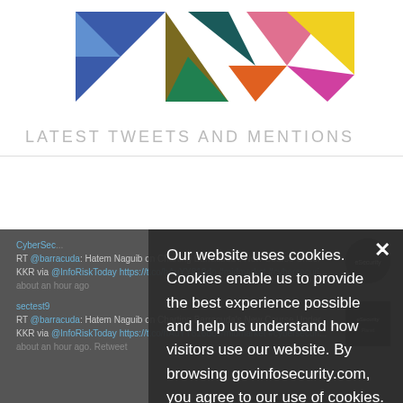[Figure (illustration): Colorful geometric shapes illustration — blue triangle, multicolored diamond/triangle shapes on white background]
LATEST TWEETS AND MENTIONS
CyberSec... RT @barracuda: Hatem Naguib on Charting Barracuda's New Course Under KKR via @InfoRiskToday https://t.co/hAuYY816do #midmarket #cybersecuri... about an hour ago
sectest9 RT @barracuda: Hatem Naguib on Charting Barracuda's New Course Under KKR via @InfoRiskToday https://t.co/hAuYY816do #midmarket #cybersecuri... about an hour ago. Retweet
Our website uses cookies. Cookies enable us to provide the best experience possible and help us understand how visitors use our website. By browsing govinfosecurity.com, you agree to our use of cookies.